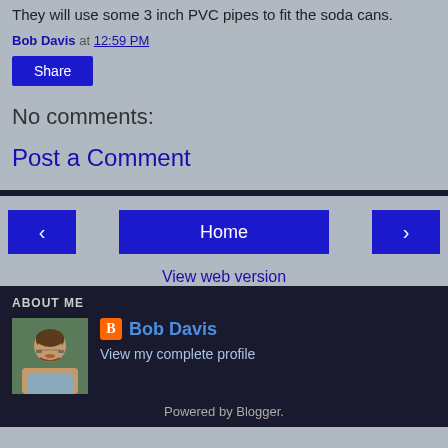They will use some 3 inch PVC pipes to fit the soda cans.
Bob Davis at 12:59 PM
Share
No comments:
Post a Comment
[Figure (screenshot): Navigation bar with left arrow button, Home button, and right arrow button]
View web version
ABOUT ME
[Figure (photo): Profile photo of Bob Davis, a man with glasses and beard]
Bob Davis
View my complete profile
Powered by Blogger.